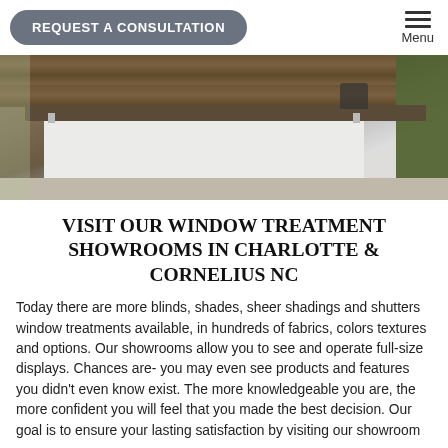REQUEST A CONSULTATION | Menu
[Figure (photo): Interior showroom reception desk with dark wood top, white front panel, wooden accent wall in background, and green wall on the right side.]
VISIT OUR WINDOW TREATMENT SHOWROOMS IN CHARLOTTE & CORNELIUS NC
Today there are more blinds, shades, sheer shadings and shutters window treatments available, in hundreds of fabrics, colors textures and options. Our showrooms allow you to see and operate full-size displays. Chances are- you may even see products and features you didn't even know exist. The more knowledgeable you are, the more confident you will feel that you made the best decision. Our goal is to ensure your lasting satisfaction by visiting our showroom...